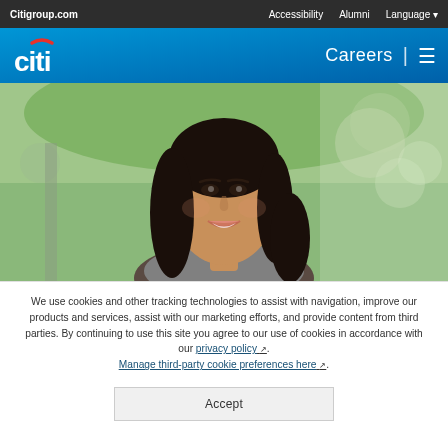Citigroup.com   Accessibility   Alumni   Language
[Figure (logo): Citi logo in white with red arc on blue header, with Careers navigation and hamburger menu]
[Figure (photo): Smiling young woman with dark hair outdoors, Citi Careers hero image]
We use cookies and other tracking technologies to assist with navigation, improve our products and services, assist with our marketing efforts, and provide content from third parties. By continuing to use this site you agree to our use of cookies in accordance with our privacy policy. Manage third-party cookie preferences here.
Accept